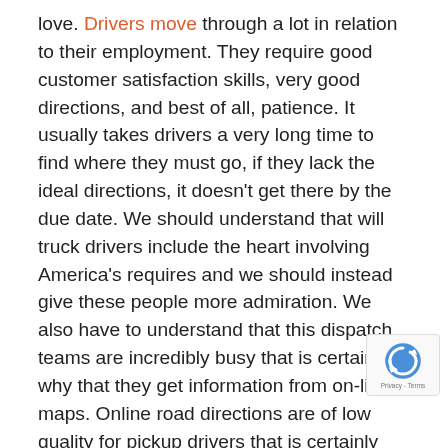love. Drivers move through a lot in relation to their employment. They require good customer satisfaction skills, very good directions, and best of all, patience. It usually takes drivers a very long time to find where they must go, if they lack the ideal directions, it doesn't get there by the due date. We should understand that will truck drivers include the heart involving America's requires and we should instead give these people more admiration. We also have to understand that this dispatch teams are incredibly busy that is certainly why that they get information from on-line maps. Online road directions are of low quality for pickup drivers that is certainly why that they made atlas's pertaining to truck owners. They show you were your restricted tracks are and they also also show you were period of time clearances are generally. The trucker's atlas carries a wealth involving information pertaining to drivers, but owners and dispatch seriously don't have some time to get that information that they need to have. It is important for your drivers to acquire better information make certain they recognize where they are going befo start. I get hard countless drivers explain to stories with their
[Figure (other): Google reCAPTCHA badge in the bottom-right corner showing the reCAPTCHA logo and 'Privacy - Terms' text.]